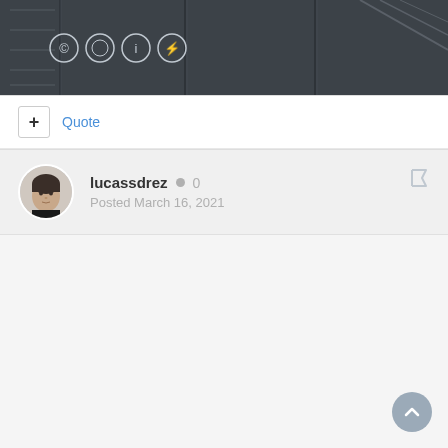[Figure (screenshot): Dark gray panel/door product image with circular icons (copyright, info, lightning bolt) overlaid]
+ Quote
lucassdrez • 0
Posted March 16, 2021